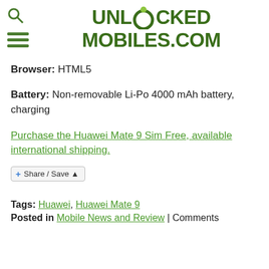[Figure (logo): Unlocked Mobiles .com logo with green circular icon and hamburger/search nav icons on the left]
Browser: HTML5
Battery: Non-removable Li-Po 4000 mAh battery, charging
Purchase the Huawei Mate 9 Sim Free, available international shipping.
Share / Save
Tags: Huawei, Huawei Mate 9
Posted in Mobile News and Review | Comments